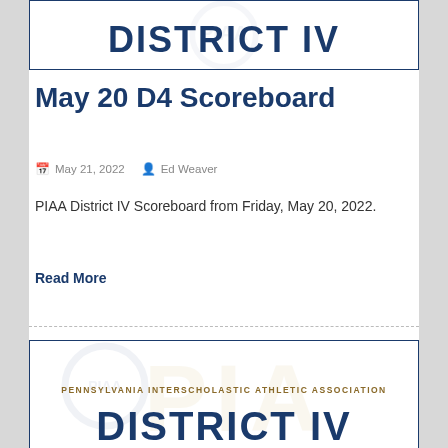[Figure (logo): DISTRICT IV logo with PIAA watermark — partial top portion showing large blue bold text 'DISTRICT IV' with circular watermark]
May 20 D4 Scoreboard
May 21, 2022   Ed Weaver
PIAA District IV Scoreboard from Friday, May 20, 2022.
Read More
[Figure (logo): PIAA District IV logo — PENNSYLVANIA INTERSCHOLASTIC ATHLETIC ASSOCIATION text with large blue DISTRICT IV text and gold PIAA letter watermark]